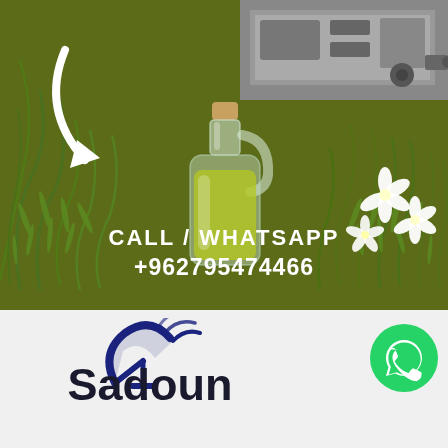[Figure (photo): Advertisement image with olive oil bottle surrounded by herbs and white flowers on a dark olive-green background, with industrial machinery visible in top right corner and a white arrow pointing down to the bottle]
CALL / WHATSAPP
+962795474466
[Figure (logo): Sadoun company logo with a satellite dish icon in dark blue and the text 'Sadoun' in large bold dark letters]
[Figure (logo): WhatsApp green circle icon with phone handset]